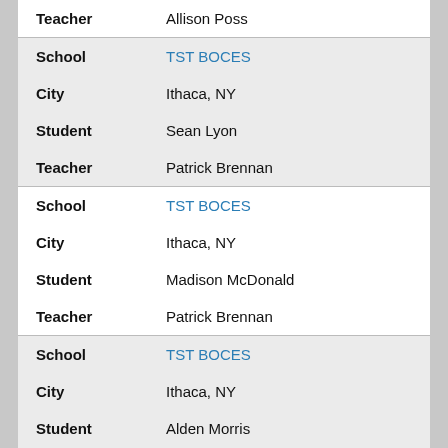| Field | Value |
| --- | --- |
| Teacher | Allison Poss |
| School | TST BOCES |
| City | Ithaca, NY |
| Student | Sean Lyon |
| Teacher | Patrick Brennan |
| School | TST BOCES |
| City | Ithaca, NY |
| Student | Madison McDonald |
| Teacher | Patrick Brennan |
| School | TST BOCES |
| City | Ithaca, NY |
| Student | Alden Morris |
| Teacher | Patrick Brennan |